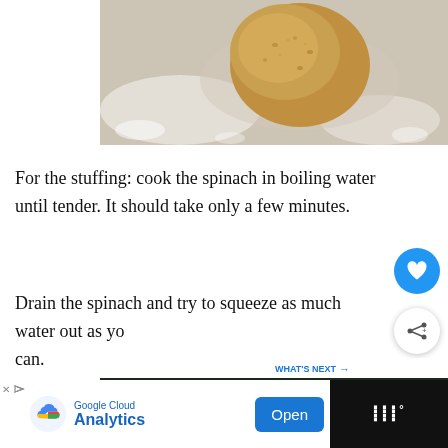[Figure (photo): A ball of dough covered in grainy flour/semolina sitting on a floured surface, top-down close-up view]
For the stuffing: cook the spinach in boiling water until tender. It should take only a few minutes.
Drain the spinach and try to squeeze as much water out as yo can.
[Figure (photo): Fresh spinach leaves in a dark pan/bowl, top-down view]
[Figure (infographic): WHAT'S NEXT arrow with thumbnail and text: Homemade Ravioli with...]
[Figure (infographic): Google Cloud Analytics advertisement banner with Open button]